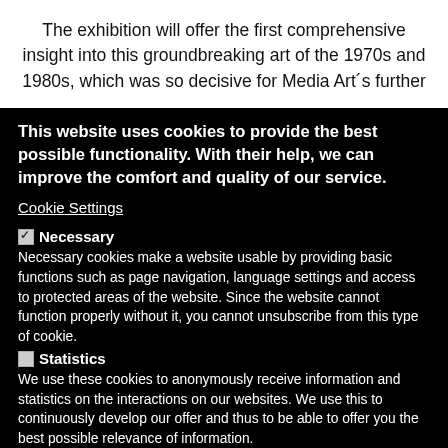The exhibition will offer the first comprehensive insight into this groundbreaking art of the 1970s and 1980s, which was so decisive for Media Art's further
This website uses cookies to provide the best possible functionality. With their help, we can improve the comfort and quality of our service.
Cookie Settings
☑ Necessary
Necessary cookies make a website usable by providing basic functions such as page navigation, language settings and access to protected areas of the website. Since the website cannot function properly without it, you cannot unsubscribe from this type of cookie.
☐ Statistics
We use these cookies to anonymously receive information and statistics on the interactions on our websites. We use this to continuously develop our offer and thus to be able to offer you the best possible relevance of information.
☐ Comfort
These cookies help us to make our websites more efficient and to create a more relevant visit for it